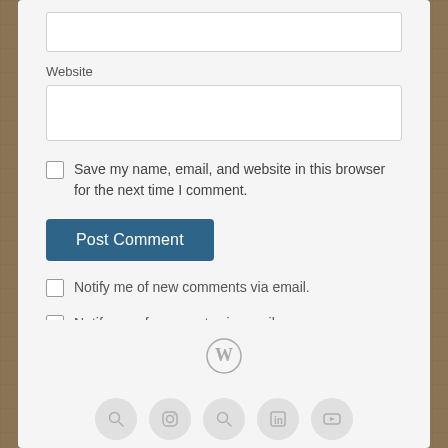Website
Save my name, email, and website in this browser for the next time I comment.
Post Comment
Notify me of new comments via email.
Notify me of new posts via email.
[Figure (logo): WordPress logo icon in gray]
[Figure (infographic): Row of social media icon circles at bottom: search, Instagram, search, LinkedIn, YouTube]